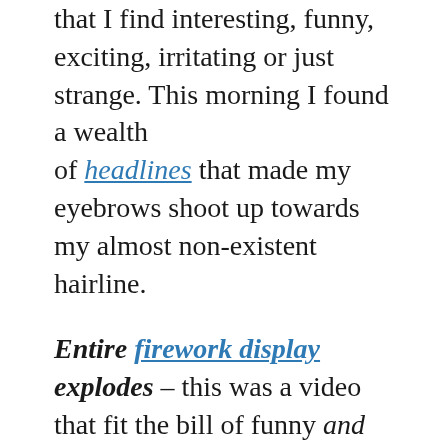that I find interesting, funny, exciting, irritating or just strange. This morning I found a wealth of headlines that made my eyebrows shoot up towards my almost non-existent hairline.
Entire firework display explodes – this was a video that fit the bill of funny and irritating. Of course I would find it funny, I didn't fight crowds of people to see it live. Nor did I have to pay for parking and then have to fight to get back to my car when the fifteen second display finished. But for the folks who attended, I think maybe irritated would be the order of the day, or